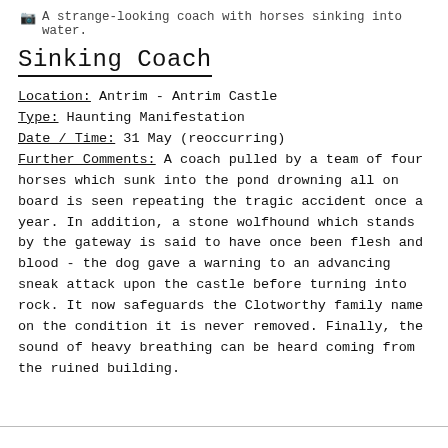📷 A strange-looking coach with horses sinking into water.
Sinking Coach
Location: Antrim - Antrim Castle
Type: Haunting Manifestation
Date / Time: 31 May (reoccurring)
Further Comments: A coach pulled by a team of four horses which sunk into the pond drowning all on board is seen repeating the tragic accident once a year. In addition, a stone wolfhound which stands by the gateway is said to have once been flesh and blood - the dog gave a warning to an advancing sneak attack upon the castle before turning into rock. It now safeguards the Clotworthy family name on the condition it is never removed. Finally, the sound of heavy breathing can be heard coming from the ruined building.